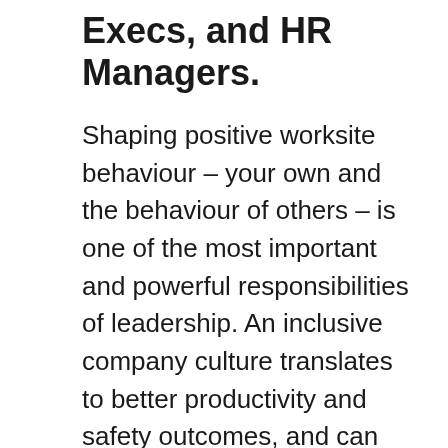Execs, and HR Managers.
Shaping positive worksite behaviour – your own and the behaviour of others – is one of the most important and powerful responsibilities of leadership.  An inclusive company culture translates to better productivity and safety outcomes, and can help attract and retain the best workers.
Employers often underestimate the financial impacts of hazing, harassment, and bullying on the worksite.  These negative behaviours cause stress and distraction in the crew that can lead to turnover, lost time to accidents, injury